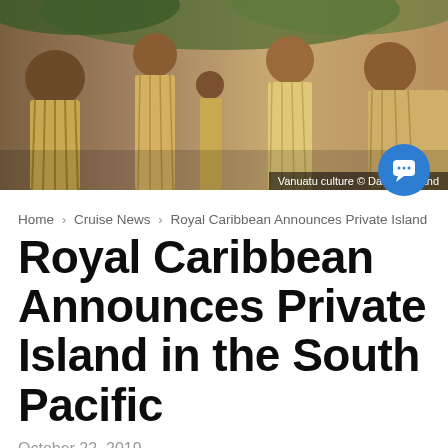[Figure (photo): Photo of people in traditional Vanuatu cultural dress/costumes, group scene with woven grass garments]
Vanuatu culture © David Kirkland
Home > Cruise News > Royal Caribbean Announces Private Island in the
Royal Caribbean Announces Private Island in the South Pacific
October 22, 2019
Tiana Templeman
Contributor